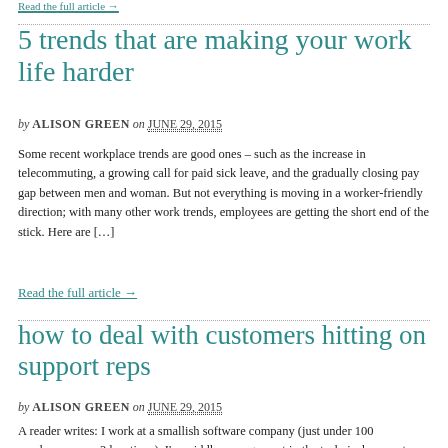Read the full article →
5 trends that are making your work life harder
by ALISON GREEN on JUNE 29, 2015
Some recent workplace trends are good ones – such as the increase in telecommuting, a growing call for paid sick leave, and the gradually closing pay gap between men and woman. But not everything is moving in a worker-friendly direction; with many other work trends, employees are getting the short end of the stick. Here are […]
Read the full article →
how to deal with customers hitting on support reps
by ALISON GREEN on JUNE 29, 2015
A reader writes: I work at a smallish software company (just under 100 employees over 2 locations). I'm middle management in the technical support department, and we have a live chat system that we use to interact with customers. We usually have